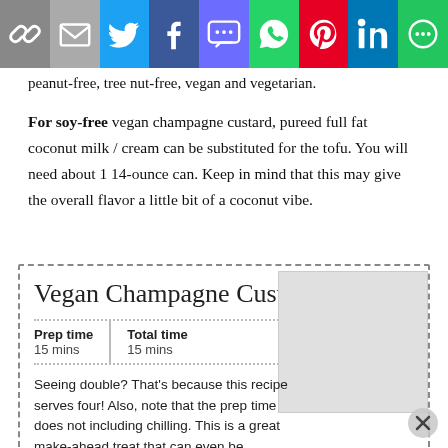[Figure (other): Social sharing toolbar with icons: link, email, Twitter, Facebook, SMS, WhatsApp, Pinterest, LinkedIn, More]
peanut-free, tree nut-free, vegan and vegetarian.
For soy-free vegan champagne custard, pureed full fat coconut milk / cream can be substituted for the tofu. You will need about 1 14-ounce can. Keep in mind that this may give the overall flavor a little bit of a coconut vibe.
Vegan Champagne Custard
| Prep time | Total time |
| --- | --- |
| 15 mins | 15 mins |
Seeing double? That's because this recipe serves four! Also, note that the prep time does not including chilling. This is a great make-ahead treat that can even be prepared the night before.
Author: Hannah Kaminsky
Serves: 4 servings